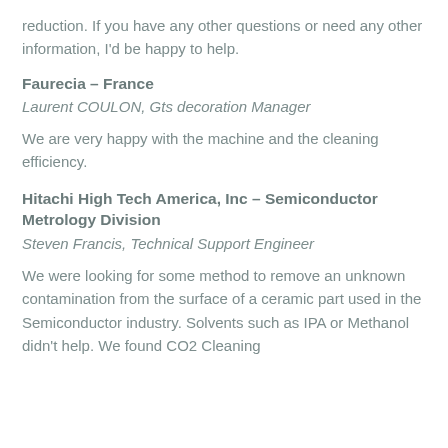reduction. If you have any other questions or need any other information, I'd be happy to help.
Faurecia – France
Laurent COULON, Gts decoration Manager
We are very happy with the machine and the cleaning efficiency.
Hitachi High Tech America, Inc – Semiconductor Metrology Division
Steven Francis, Technical Support Engineer
We were looking for some method to remove an unknown contamination from the surface of a ceramic part used in the Semiconductor industry. Solvents such as IPA or Methanol didn't help. We found CO2 Cleaning